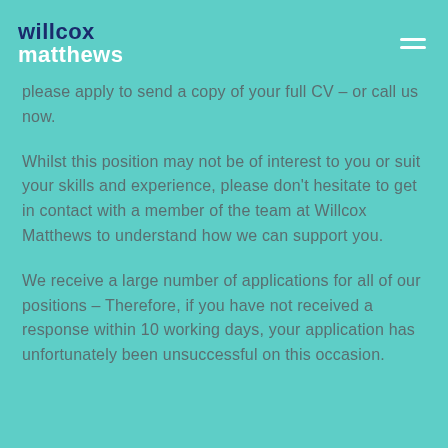willcox matthews
please apply to send a copy of your full CV – or call us now.
Whilst this position may not be of interest to you or suit your skills and experience, please don't hesitate to get in contact with a member of the team at Willcox Matthews to understand how we can support you.
We receive a large number of applications for all of our positions – Therefore, if you have not received a response within 10 working days, your application has unfortunately been unsuccessful on this occasion.